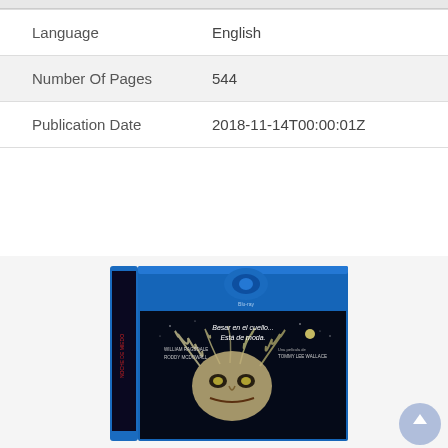| Language | English |
| Number Of Pages | 544 |
| Publication Date | 2018-11-14T00:00:01Z |
[Figure (photo): Blu-ray case for a Spanish horror film showing a monstrous face with wild hair against a dark background. Text reads: 'Besar en el cuello... Está de moda.' with credits for William Ragsdale, Roddy McDowall, and directed by Tommy Lee Wallace. The spine shows 'Noche de Miedo' (Fright Night).]